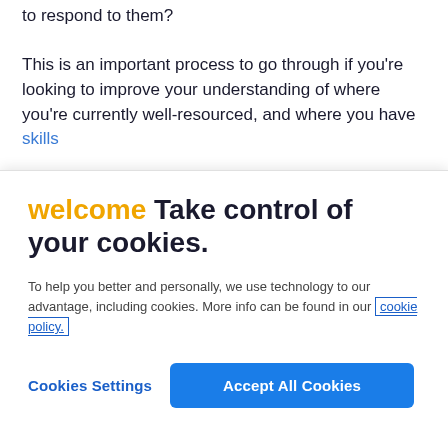to respond to them? This is an important process to go through if you're looking to improve your understanding of where you're currently well-resourced, and where you have skills
welcome Take control of your cookies.
To help you better and personally, we use technology to our advantage, including cookies. More info can be found in our cookie policy.
Cookies Settings   Accept All Cookies